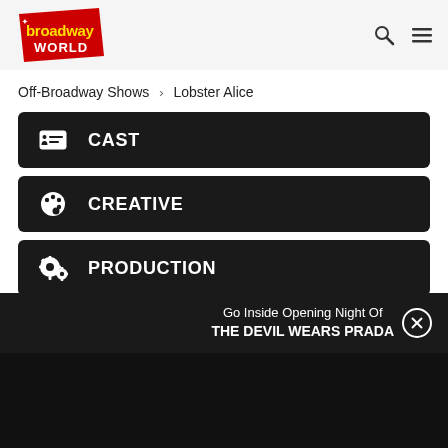[Figure (logo): BroadwayWorld logo - red diagonal banner with yellow 'broadway' text and white 'WORLD' text]
Off-Broadway Shows › Lobster Alice
CAST
CREATIVE
PRODUCTION
PHOTOS
Go Inside Opening Night Of THE DEVIL WEARS PRADA